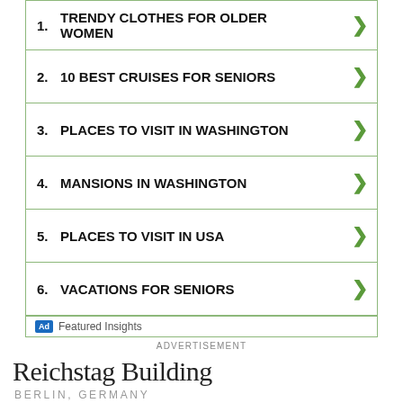1. TRENDY CLOTHES FOR OLDER WOMEN
2. 10 BEST CRUISES FOR SENIORS
3. PLACES TO VISIT IN WASHINGTON
4. MANSIONS IN WASHINGTON
5. PLACES TO VISIT IN USA
6. VACATIONS FOR SENIORS
Ad  Featured Insights
ADVERTISEMENT
Reichstag Building
BERLIN, GERMANY
[Figure (photo): Partial view of Reichstag Building in Berlin with blue sky background and trees, with an overlaid advertisement banner reading 'Can You Finish These Famous Lines From Literature?']